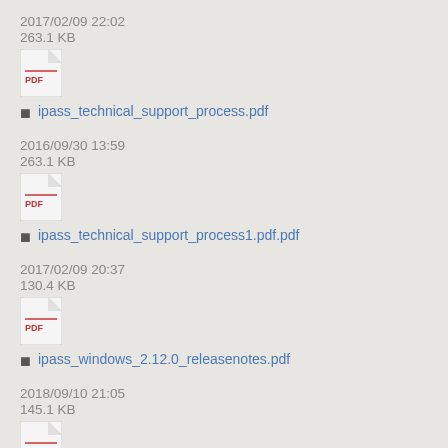2017/02/09 22:02
263.1 KB
ipass_technical_support_process.pdf
2016/09/30 13:59
263.1 KB
ipass_technical_support_process1.pdf.pdf
2017/02/09 20:37
130.4 KB
ipass_windows_2.12.0_releasenotes.pdf
2018/09/10 21:05
145.1 KB